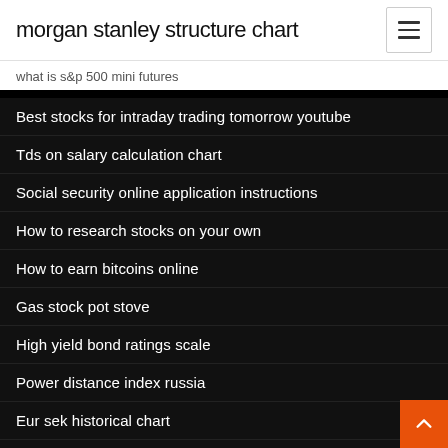morgan stanley structure chart
what is s&p 500 mini futures
Best stocks for intraday trading tomorrow youtube
Tds on salary calculation chart
Social security online application instructions
How to research stocks on your own
How to earn bitcoins online
Gas stock pot stove
High yield bond ratings scale
Power distance index russia
Eur sek historical chart
Major differences between democrats and republicans c